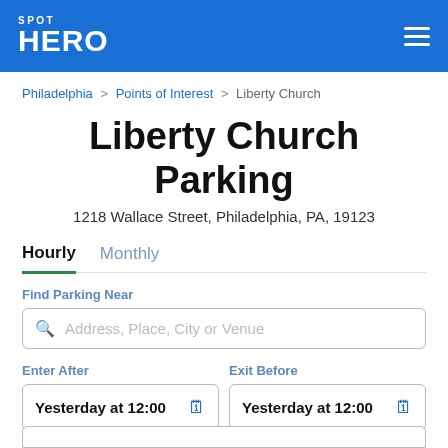SPOT HERO
Philadelphia > Points of Interest > Liberty Church
Liberty Church Parking
1218 Wallace Street, Philadelphia, PA, 19123
Hourly   Monthly
Find Parking Near
Address, Place, City or Venue
Enter After
Exit Before
Yesterday at 12:00
Yesterday at 12:00